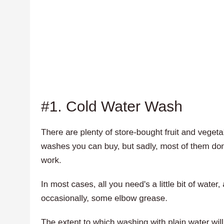#1. Cold Water Wash
There are plenty of store-bought fruit and vegetable washes you can buy, but sadly, most of them don't work.
In most cases, all you need's a little bit of water, and occasionally, some elbow grease.
The extent to which washing with plain water will